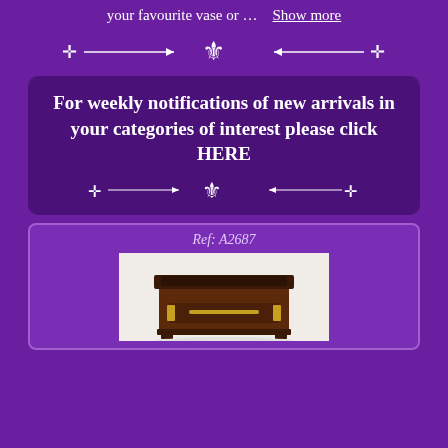your favourite vase or …   Show more
[Figure (illustration): Decorative fleur-de-lis ornamental divider in white on purple background]
For weekly notifications of new arrivals in your categories of interest please click HERE
[Figure (illustration): Decorative fleur-de-lis ornamental divider in white on dark purple background]
Ref: A2687
[Figure (photo): Photo of an antique wooden side cabinet/nightstand with brass fittings and ornate hardware, dark mahogany color]